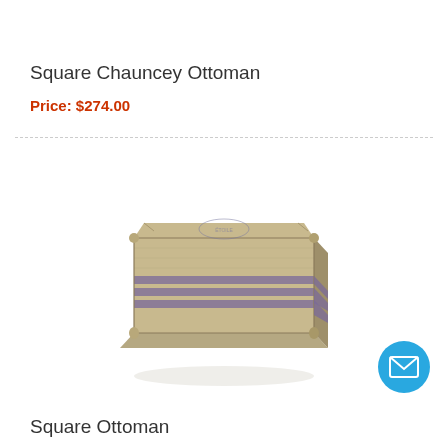Square Chauncey Ottoman
Price: $274.00
[Figure (photo): Square ottoman upholstered in burlap/jute fabric with purple horizontal stripes, resembling a coffee sack, photographed on white background]
Square Ottoman